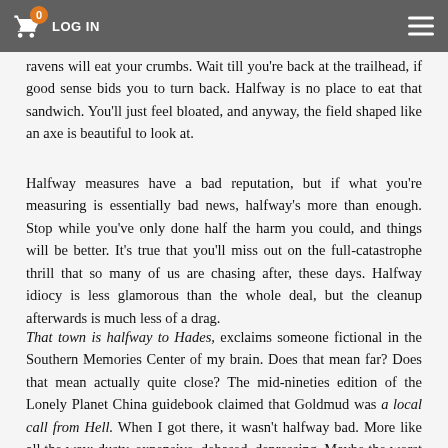LOG IN [navigation bar with cart icon showing 0 items and hamburger menu]
ravens will eat your crumbs. Wait till you're back at the trailhead, if good sense bids you to turn back. Halfway is no place to eat that sandwich. You'll just feel bloated, and anyway, the field shaped like an axe is beautiful to look at.
Halfway measures have a bad reputation, but if what you're measuring is essentially bad news, halfway's more than enough. Stop while you've only done half the harm you could, and things will be better. It's true that you'll miss out on the full-catastrophe thrill that so many of us are chasing after, these days. Halfway idiocy is less glamorous than the whole deal, but the cleanup afterwards is much less of a drag.
That town is halfway to Hades, exclaims someone fictional in the Southern Memories Center of my brain. Does that mean far? Does that mean actually quite close? The mid-nineties edition of the Lonely Planet China guidebook claimed that Goldmud was a local call from Hell. When I got there, it wasn't halfway bad. More like all the way: dusty, expensive, debased, depressing. Maybe the worst bus ride of my life took off from Goldmud. Halfway up the mountain, we got a flat tire, which, looking at the state of the tires when we all got off to wait for something to happen, wasn't halfway surprising. When whatever it was had happened, and we took off again, I'm halfway sure we left behind an old Tibetan man in a dust-colored coat. That bus took us more than halfway to Hades.
Halfway-sure is a weird state to be in. As in, I think that's true, but I'm not positive, that impression is coming from somewhere trustworthy. Could be